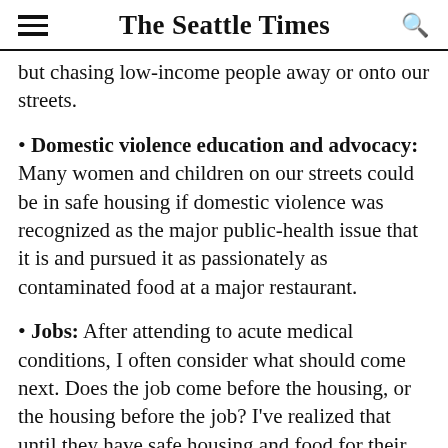The Seattle Times
but chasing low-income people away or onto our streets.
Domestic violence education and advocacy: Many women and children on our streets could be in safe housing if domestic violence was recognized as the major public-health issue that it is and pursued it as passionately as contaminated food at a major restaurant.
Jobs: After attending to acute medical conditions, I often consider what should come next. Does the job come before the housing, or the housing before the job? I've realized that until they have safe housing and food for their children, homeless parents can't think straight enough to look for a job. With a roof